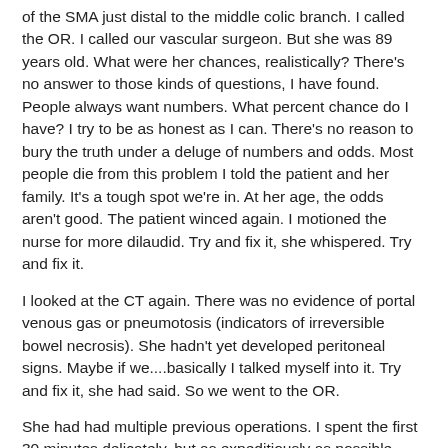of the SMA just distal to the middle colic branch. I called the OR. I called our vascular surgeon. But she was 89 years old. What were her chances, realistically? There's no answer to those kinds of questions, I have found. People always want numbers. What percent chance do I have? I try to be as honest as I can. There's no reason to bury the truth under a deluge of numbers and odds. Most people die from this problem I told the patient and her family. It's a tough spot we're in. At her age, the odds aren't good. The patient winced again. I motioned the nurse for more dilaudid. Try and fix it, she whispered. Try and fix it.
I looked at the CT again. There was no evidence of portal venous gas or pneumotosis (indicators of irreversible bowel necrosis). She hadn't yet developed peritoneal signs. Maybe if we....basically I talked myself into it. Try and fix it, she had said. So we went to the OR.
She had had multiple previous operations. I spent the first 30 minutes delicately, but as expeditiously as possible, sharply excising adhesions with the knife. Finally I was able to free up the transverse colon mesentery and I started the